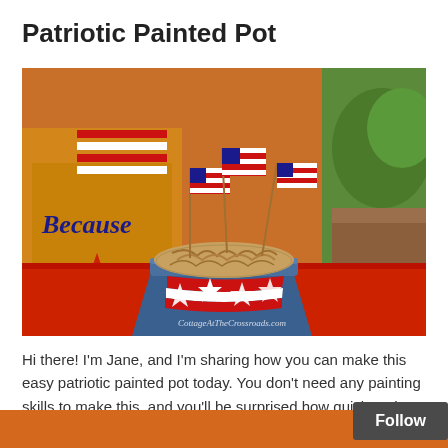Patriotic Painted Pot
[Figure (photo): A blue terracotta flower pot painted with white stars and red/white stripes, filled with brown shredded paper and small American flags, sitting on a red surface with a patriotic box visible in the background. Watermark reads CottageAtTheCrossroads.com]
Hi there! I'm Jane, and I'm sharing how you can make this easy patriotic painted pot today. You don't need any painting skills to make this, and you'll be surprised how quick and easy it is to make it.